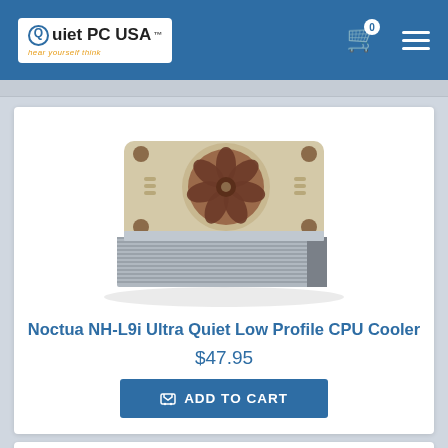Quiet PC USA
[Figure (photo): Noctua NH-L9i low profile CPU cooler with beige/cream frame and brown fan blades on aluminum heatsink fins]
Noctua NH-L9i Ultra Quiet Low Profile CPU Cooler
$47.95
ADD TO CART